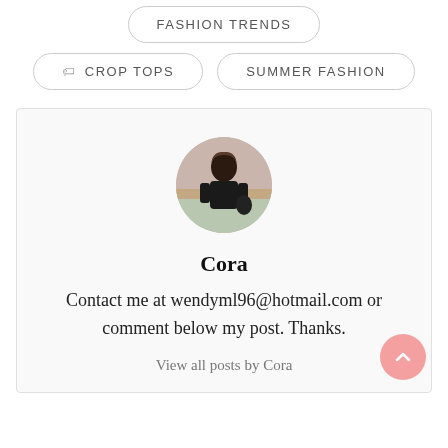FASHION TRENDS
CROP TOPS
SUMMER FASHION
[Figure (photo): Circular profile photo of a person wearing black, standing outdoors]
Cora
Contact me at wendyml96@hotmail.com or comment below my post. Thanks.
View all posts by Cora